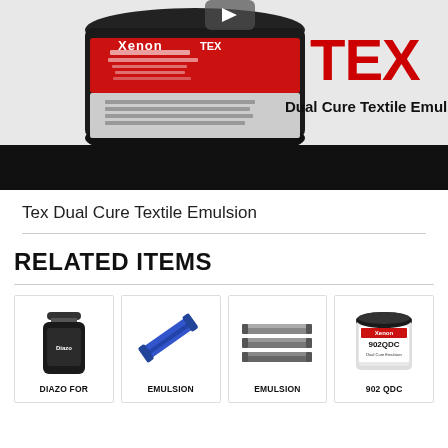[Figure (photo): Product photo of Xenon TEX Dual Cure Textile Emulsion — a container with red/black label on the left and large bold red text 'TEX' with subtitle 'Dual Cure Textile Emulsion' on the right. Bottom portion of image is black.]
Tex Dual Cure Textile Emulsion
RELATED ITEMS
[Figure (photo): Small dark bottle (Diazo product)]
DIAZO FOR
[Figure (photo): Blue emulsion scoop coater squeegee tool]
EMULSION
[Figure (photo): Metal emulsion scoop coater tools]
EMULSION
[Figure (photo): Container of Xenon 902QDC product]
902 QDC